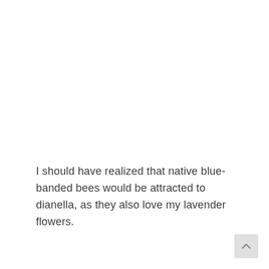I should have realized that native blue-banded bees would be attracted to dianella, as they also love my lavender flowers.